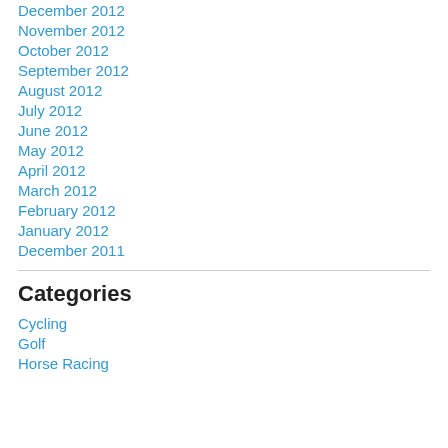December 2012
November 2012
October 2012
September 2012
August 2012
July 2012
June 2012
May 2012
April 2012
March 2012
February 2012
January 2012
December 2011
Categories
Cycling
Golf
Horse Racing